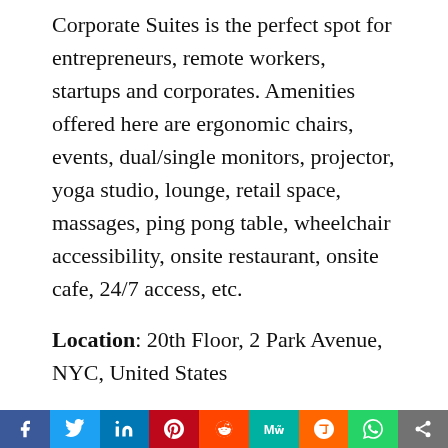Corporate Suites is the perfect spot for entrepreneurs, remote workers, startups and corporates. Amenities offered here are ergonomic chairs, events, dual/single monitors, projector, yoga studio, lounge, retail space, massages, ping pong table, wheelchair accessibility, onsite restaurant, onsite cafe, 24/7 access, etc.
Location: 20th Floor, 2 Park Avenue, NYC, United States
Website: www.corporatesuites.com
Membership Plans: The membership fees for
[Figure (infographic): Social sharing bar with icons for Facebook, Twitter, LinkedIn, Pinterest, Reddit, MeWe, Mix, WhatsApp, and Share]